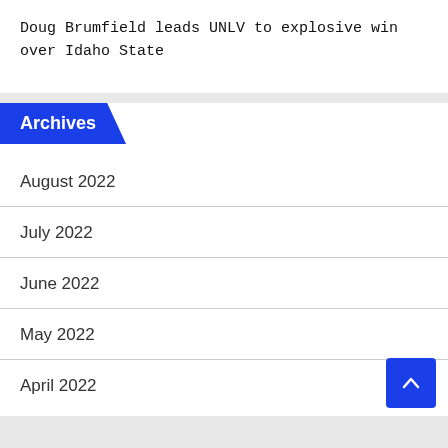Doug Brumfield leads UNLV to explosive win over Idaho State
Archives
August 2022
July 2022
June 2022
May 2022
April 2022